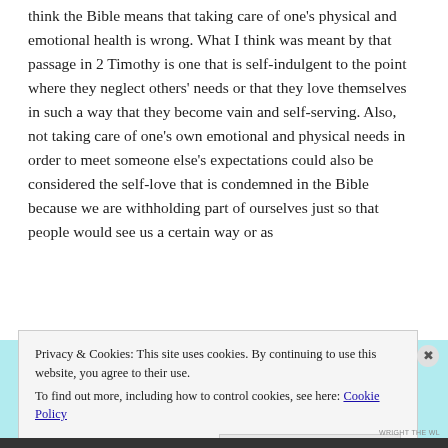think the Bible means that taking care of one's physical and emotional health is wrong. What I think was meant by that passage in 2 Timothy is one that is self-indulgent to the point where they neglect others' needs or that they love themselves in such a way that they become vain and self-serving. Also, not taking care of one's own emotional and physical needs in order to meet someone else's expectations could also be considered the self-love that is condemned in the Bible because we are withholding part of ourselves just so that people would see us a certain way or as
Privacy & Cookies: This site uses cookies. By continuing to use this website, you agree to their use.
To find out more, including how to control cookies, see here: Cookie Policy
Close and accept